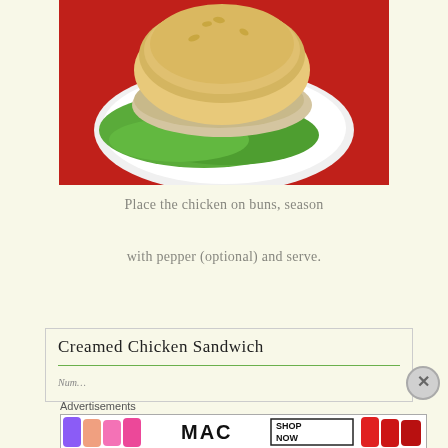[Figure (photo): A chicken salad sandwich on a bun with lettuce, served on a white plate on a red tablecloth, viewed from above.]
Place the chicken on buns, season

with pepper (optional) and serve.
Creamed Chicken Sandwich
[Figure (screenshot): MAC cosmetics advertisement banner showing lipsticks in purple, pink, and red with text SHOP NOW]
Advertisements